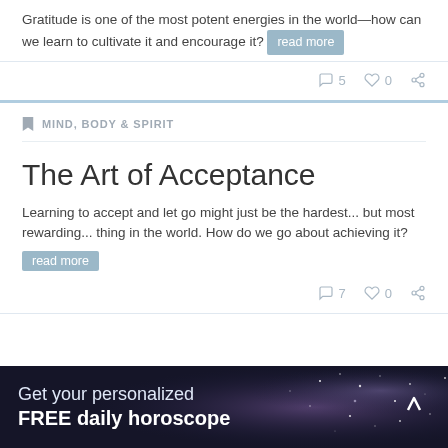Gratitude is one of the most potent energies in the world—how can we learn to cultivate it and encourage it? read more
5  0
MIND, BODY & SPIRIT
The Art of Acceptance
Learning to accept and let go might just be the hardest... but most rewarding... thing in the world. How do we go about achieving it? read more
7  0
Get your personalized FREE daily horoscope